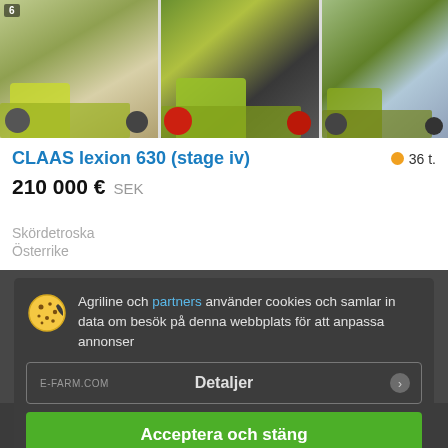[Figure (photo): Three agricultural combine harvester images (CLAAS machines) shown side by side at the top of the page]
CLAAS lexion 630 (stage iv)
36 t.
210 000 €  SEK
Skördetroska
Österrike
Agriline och partners använder cookies och samlar in data om besök på denna webbplats för att anpassa annonser
E-FARM.COM   Detaljer
Acceptera och stäng